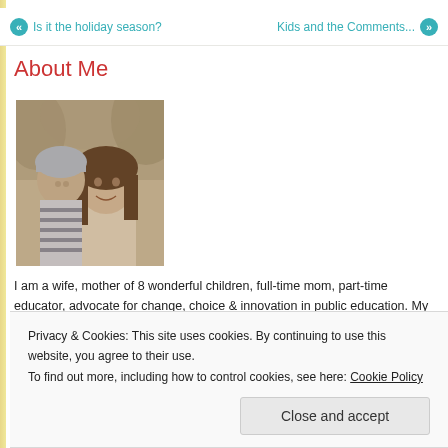« Is it the holiday season?    Kids and the Comments... »
About Me
[Figure (photo): Sepia-toned photo of a woman with long dark hair holding a baby/toddler wearing a striped hat and striped outfit, outdoors with trees in background]
I am a wife, mother of 8 wonderful children, full-time mom, part-time educator, advocate for change, choice & innovation in public education. My faith is very important to me and quite frankly gets me through much of the challenges my crazy life puts before me.
Privacy & Cookies: This site uses cookies. By continuing to use this website, you agree to their use.
To find out more, including how to control cookies, see here: Cookie Policy
Close and accept